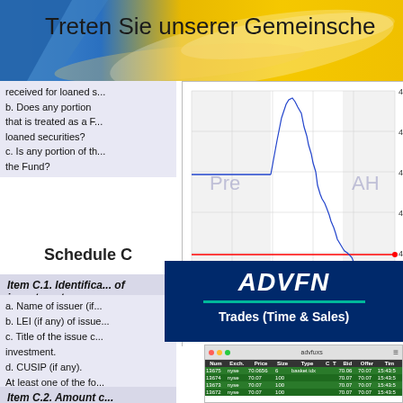Treten Sie unserer Gemeinschaft...
received for loaned s...
b. Does any portion that is treated as a F... loaned securities?
c. Is any portion of th... the Fund?
[Figure (continuous-plot): Stock price chart showing intraday price movement with Pre and AH market zones marked, price range approximately 4.84 to 4.92, x-axis showing times 1100, 1400, 1700, 2000, 2300. Source: (c) www.advfn.com]
Schedule C
Item C.1. Identifica... of investment...
a. Name of issuer (if...
b. LEI (if any) of issue...
c. Title of the issue c... investment.
d. CUSIP (if any).
At least one of the fo...
- ISIN
[Figure (screenshot): ADVFN logo and Trades (Time & Sales) panel with a screenshot of the ADVFN trading platform showing a table with columns: Num, Exch., Price, Size, Type, C, T, Bid, Offer, Tim. Rows include trades at prices 70.0656, 70.07 for nyse exchange.]
Item C.2. Amount c...
Balance (S)...